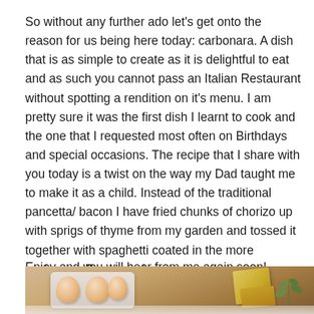So without any further ado let's get onto the reason for us being here today: carbonara. A dish that is as simple to create as it is delightful to eat and as such you cannot pass an Italian Restaurant without spotting a rendition on it's menu. I am pretty sure it was the first dish I learnt to cook and the one that I requested most often on Birthdays and special occasions. The recipe that I share with you today is a twist on the way my Dad taught me to make it as a child. Instead of the traditional pancetta/ bacon I have fried chunks of chorizo up with sprigs of thyme from my garden and tossed it together with spaghetti coated in the more customary Parmesan/ egg sauce.
Enjoy and you will hear from me again soon!
[Figure (photo): Photo of eggs in a carton alongside cheese and herbs on a marble surface]